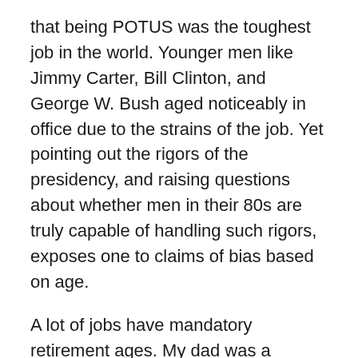that being POTUS was the toughest job in the world. Younger men like Jimmy Carter, Bill Clinton, and George W. Bush aged noticeably in office due to the strains of the job. Yet pointing out the rigors of the presidency, and raising questions about whether men in their 80s are truly capable of handling such rigors, exposes one to claims of bias based on age.
A lot of jobs have mandatory retirement ages. My dad was a firefighter and he had to retire at 65. While we don't expect the POTUS to climb ladders or charge into burning buildings or carry bodies, there's still something to be said for the difficulty of men in the twilight of their lives serving as the “leader of the free world.”
(I say men here because women live longer and often age more gracefully. But I think it’s also true in the U.S. that a woman “pushing 80” would be dismissed out of hand as too old for the presidency; societal bias against